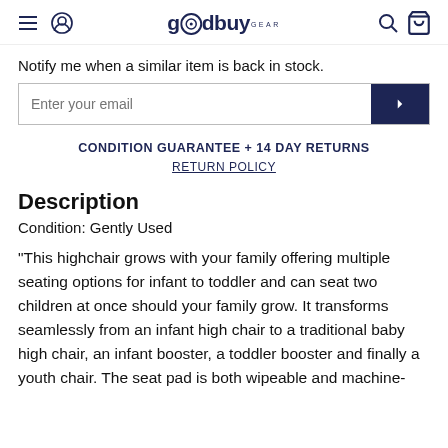goodbuy gear
Notify me when a similar item is back in stock.
Enter your email
CONDITION GUARANTEE + 14 DAY RETURNS
RETURN POLICY
Description
Condition: Gently Used
"This highchair grows with your family offering multiple seating options for infant to toddler and can seat two children at once should your family grow. It transforms seamlessly from an infant high chair to a traditional baby high chair, an infant booster, a toddler booster and finally a youth chair. The seat pad is both wipeable and machine-